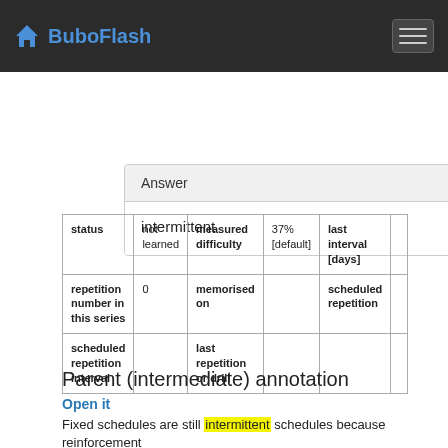BuboFlash
Answer
intermittent
| status | not learned | measured difficulty | 37% [default] | last interval [days] |  |
| repetition number in this series | 0 | memorised on |  | scheduled repetition |  |
| scheduled repetition interval |  | last repetition or drill |  |  |  |
Parent (intermediate) annotation
Open it
Fixed schedules are still intermittent schedules because reinforcement